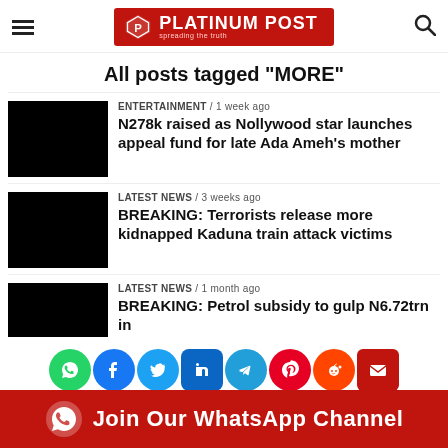Platinum Post — All posts tagged "MORE"
All posts tagged "MORE"
ENTERTAINMENT / 1 week ago — N278k raised as Nollywood star launches appeal fund for late Ada Ameh's mother
LATEST NEWS / 3 weeks ago — BREAKING: Terrorists release more kidnapped Kaduna train attack victims
LATEST NEWS / 1 month ago — BREAKING: Petrol subsidy to gulp N6.72trn in
[Figure (infographic): Social share icons: WhatsApp, Facebook, Twitter, LinkedIn, Telegram, Pinterest, Reddit, Email]
[Figure (infographic): Red banner: WhatsApp icon and text 'Join Our WhatsApp Channel']